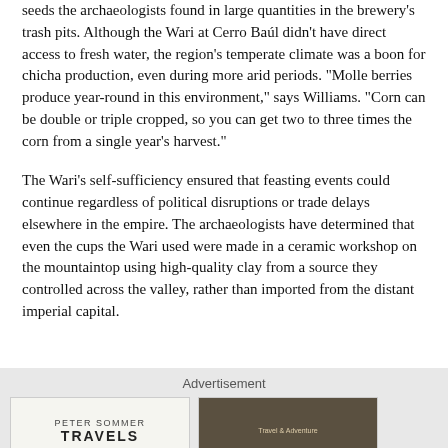seeds the archaeologists found in large quantities in the brewery's trash pits. Although the Wari at Cerro Baúl didn't have direct access to fresh water, the region's temperate climate was a boon for chicha production, even during more arid periods. "Molle berries produce year-round in this environment," says Williams. "Corn can be double or triple cropped, so you can get two to three times the corn from a single year's harvest."
The Wari's self-sufficiency ensured that feasting events could continue regardless of political disruptions or trade delays elsewhere in the empire. The archaeologists have determined that even the cups the Wari used were made in a ceramic workshop on the mountaintop using high-quality clay from a source they controlled across the valley, rather than imported from the distant imperial capital.
[Figure (other): Advertisement section with two ad boxes: left shows Peter Sommer Travels logo/text, right shows a travel/architecture image placeholder]